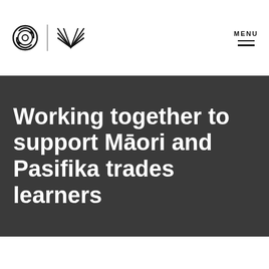[Figure (logo): Two logos side by side: a circular gear/target style icon and a stylized bird/leaf wing icon, separated by a vertical line]
MENU
Working together to support Māori and Pasifika trades learners